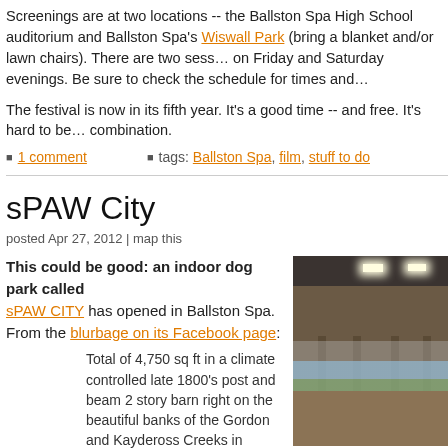Screenings are at two locations -- the Ballston Spa High School auditorium and Ballston Spa's Wiswall Park (bring a blanket and/or lawn chairs). There are two sessions per night, Friday and Saturday evenings. Be sure to check the schedule for times and...
The festival is now in its fifth year. It's a good time -- and free. It's hard to beat that combination.
■ 1 comment    ■ tags: Ballston Spa, film, stuff to do
sPAW City
posted Apr 27, 2012 | map this
This could be good: an indoor dog park called sPAW CITY has opened in Ballston Spa. From the blurbage on its Facebook page:
[Figure (photo): Interior photo of sPAW City indoor dog park showing a large barn-like space with wooden columns, chain-link fencing, painted mural on the wall, and overhead lights]
Total of 4,750 sq ft in a climate controlled late 1800's post and beam 2 story barn right on the beautiful banks of the Gordon and Kaydeross Creeks in Ballston Spa, NY. When the weather is just right we have over 60 windows to open. Ahhh